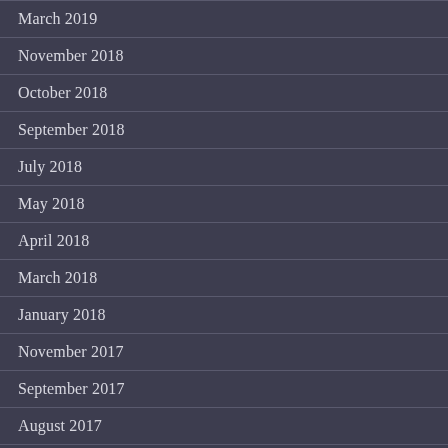March 2019
November 2018
October 2018
September 2018
July 2018
May 2018
April 2018
March 2018
January 2018
November 2017
September 2017
August 2017